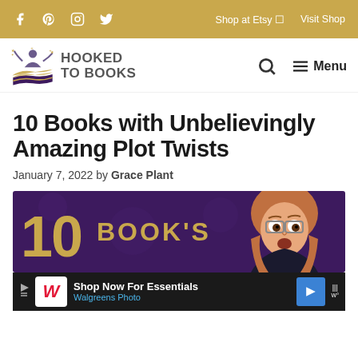Social icons: Facebook, Pinterest, Instagram, Twitter | Shop at Etsy | Visit Shop
[Figure (logo): Hooked To Books logo with stylized book and person graphic]
10 Books with Unbelievingly Amazing Plot Twists
January 7, 2022 by Grace Plant
[Figure (illustration): Featured image with dark purple background showing '10 BOOK'S' text in gold and a surprised woman with glasses]
[Figure (screenshot): Advertisement banner: Shop Now For Essentials - Walgreens Photo]